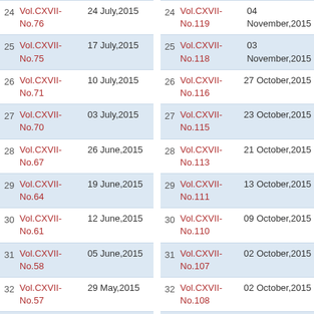| # | Volume | Date | # | Volume | Date |
| --- | --- | --- | --- | --- | --- |
| 24 | Vol.CXVII-No.76 | 24 July,2015 | 24 | Vol.CXVII-No.119 | 04 November,2015 |
| 25 | Vol.CXVII-No.75 | 17 July,2015 | 25 | Vol.CXVII-No.118 | 03 November,2015 |
| 26 | Vol.CXVII-No.71 | 10 July,2015 | 26 | Vol.CXVII-No.116 | 27 October,2015 |
| 27 | Vol.CXVII-No.70 | 03 July,2015 | 27 | Vol.CXVII-No.115 | 23 October,2015 |
| 28 | Vol.CXVII-No.67 | 26 June,2015 | 28 | Vol.CXVII-No.113 | 21 October,2015 |
| 29 | Vol.CXVII-No.64 | 19 June,2015 | 29 | Vol.CXVII-No.111 | 13 October,2015 |
| 30 | Vol.CXVII-No.61 | 12 June,2015 | 30 | Vol.CXVII-No.110 | 09 October,2015 |
| 31 | Vol.CXVII-No.58 | 05 June,2015 | 31 | Vol.CXVII-No.107 | 02 October,2015 |
| 32 | Vol.CXVII-No.57 | 29 May,2015 | 32 | Vol.CXVII-No.108 | 02 October,2015 |
| 33 | Vol.CXVII-No.55 | 29 May,2015 | 33 | Vol.CXVII-No.106 | 02 October,2015 |
| 34 | Vol.CXVII-... | 22 May,2015 | 34 | Vol.CXVII-... | 30 |